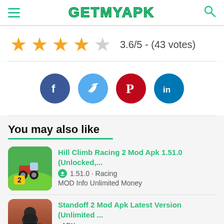GETMYAPK
3.6/5 - (43 votes)
[Figure (infographic): Social share buttons: Facebook, Twitter, Pinterest, LinkedIn]
You may also like
[Figure (illustration): Hill Climb Racing 2 app thumbnail]
Hill Climb Racing 2 Mod Apk 1.51.0 (Unlocked,...
1.51.0 · Racing
MOD Info Unlimited Money
[Figure (illustration): Standoff 2 app thumbnail]
Standoff 2 Mod Apk Latest Version (Unlimited ...
· APK
Original APK